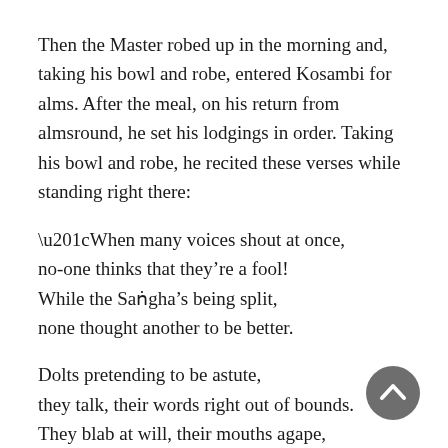Then the Master robed up in the morning and, taking his bowl and robe, entered Kosambi for alms. After the meal, on his return from almsround, he set his lodgings in order. Taking his bowl and robe, he recited these verses while standing right there:
“When many voices shout at once,
no-one thinks that they’re a fool!
While the Saṅgha’s being split,
none thought another to be better.
Dolts pretending to be astute,
they talk, their words right out of bounds.
They blab at will, their mouths agape,
[Figure (other): A circular dark grey scroll-to-top button with an upward chevron arrow in white, positioned in the bottom-right corner of the page.]